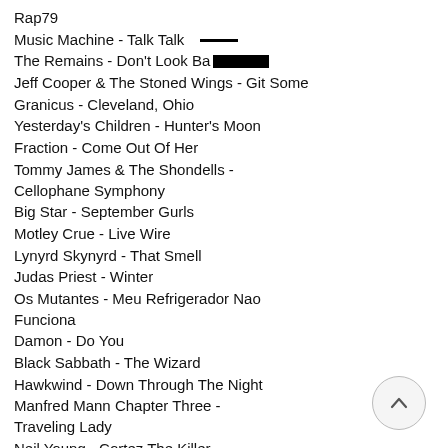Rap79
Music Machine - Talk Talk
The Remains - Don't Look Back [redacted]
Jeff Cooper & The Stoned Wings - Git Some
Granicus - Cleveland, Ohio
Yesterday's Children - Hunter's Moon
Fraction - Come Out Of Her
Tommy James & The Shondells - Cellophane Symphony
Big Star - September Gurls
Motley Crue - Live Wire
Lynyrd Skynyrd - That Smell
Judas Priest - Winter
Os Mutantes - Meu Refrigerador Nao Funciona
Damon - Do You
Black Sabbath - The Wizard
Hawkwind - Down Through The Night
Manfred Mann Chapter Three - Traveling Lady
Neil Young - Cortez The Killer